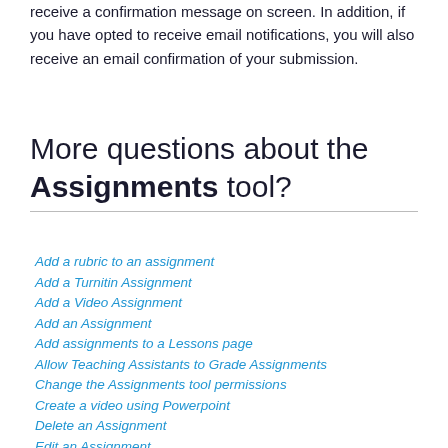Once you have submitted your assignment, you will receive a confirmation message on screen. In addition, if you have opted to receive email notifications, you will also receive an email confirmation of your submission.
More questions about the Assignments tool?
Add a rubric to an assignment
Add a Turnitin Assignment
Add a Video Assignment
Add an Assignment
Add assignments to a Lessons page
Allow Teaching Assistants to Grade Assignments
Change the Assignments tool permissions
Create a video using Powerpoint
Delete an Assignment
Edit an Assignment
Enable Group Submission